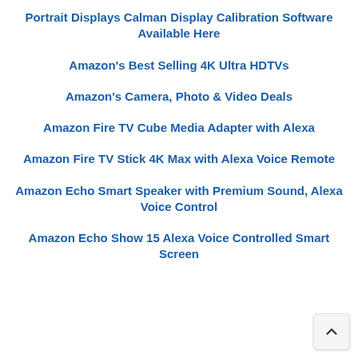Portrait Displays Calman Display Calibration Software Available Here
Amazon’s Best Selling 4K Ultra HDTVs
Amazon’s Camera, Photo & Video Deals
Amazon Fire TV Cube Media Adapter with Alexa
Amazon Fire TV Stick 4K Max with Alexa Voice Remote
Amazon Echo Smart Speaker with Premium Sound, Alexa Voice Control
Amazon Echo Show 15 Alexa Voice Controlled Sm... Screen